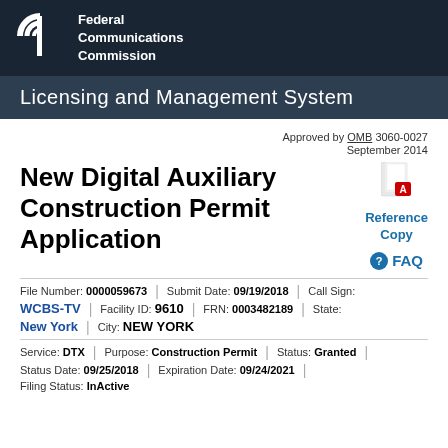[Figure (logo): FCC Federal Communications Commission logo on dark background]
Licensing and Management System
Approved by OMB 3060-0027
September 2014
New Digital Auxiliary Construction Permit Application
[Figure (other): PDF icon for Reference Copy]
Reference Copy
FAQ
File Number: 0000059673 | Submit Date: 09/19/2018 | Call Sign:
WCBS-TV | Facility ID: 9610 | FRN: 0003482189 | State:
New York | City: NEW YORK
Service: DTX | Purpose: Construction Permit | Status: Granted
Status Date: 09/25/2018 | Expiration Date: 09/24/2021
Filing Status: InActive